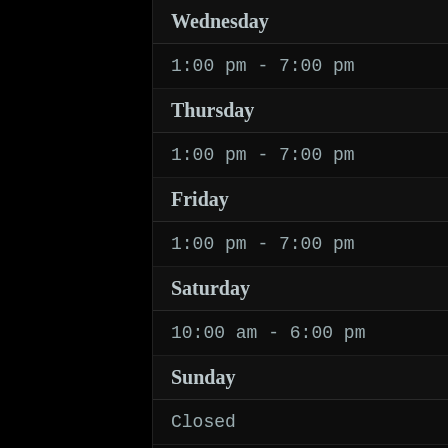Wednesday
1:00 pm - 7:00 pm
Thursday
1:00 pm - 7:00 pm
Friday
1:00 pm - 7:00 pm
Saturday
10:00 am - 6:00 pm
Sunday
Closed